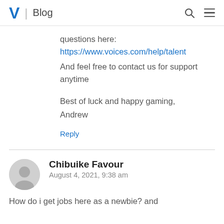V | Blog
questions here:
https://www.voices.com/help/talent
And feel free to contact us for support anytime

Best of luck and happy gaming,
Andrew
Reply
Chibuike Favour
August 4, 2021, 9:38 am
How do i get jobs here as a newbie? and